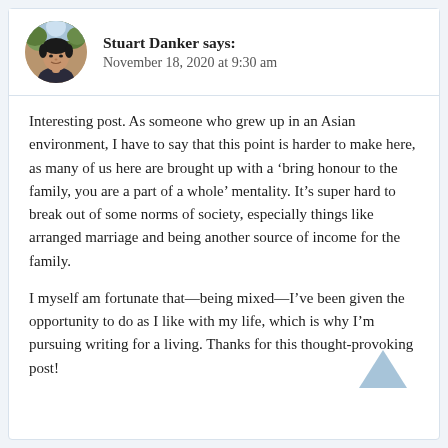[Figure (photo): Circular avatar photo of Stuart Danker, a person in a dark top with trees in background]
Stuart Danker says:
November 18, 2020 at 9:30 am
Interesting post. As someone who grew up in an Asian environment, I have to say that this point is harder to make here, as many of us here are brought up with a ‘bring honour to the family, you are a part of a whole’ mentality. It’s super hard to break out of some norms of society, especially things like arranged marriage and being another source of income for the family.
I myself am fortunate that—being mixed—I’ve been given the opportunity to do as I like with my life, which is why I’m pursuing writing for a living. Thanks for this thought-provoking post!